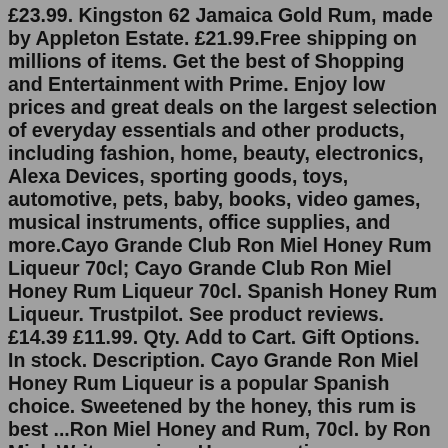£23.99. Kingston 62 Jamaica Gold Rum, made by Appleton Estate. £21.99.Free shipping on millions of items. Get the best of Shopping and Entertainment with Prime. Enjoy low prices and great deals on the largest selection of everyday essentials and other products, including fashion, home, beauty, electronics, Alexa Devices, sporting goods, toys, automotive, pets, baby, books, video games, musical instruments, office supplies, and more.Cayo Grande Club Ron Miel Honey Rum Liqueur 70cl; Cayo Grande Club Ron Miel Honey Rum Liqueur 70cl. Spanish Honey Rum Liqueur. Trustpilot. See product reviews. £14.39 £11.99. Qty. Add to Cart. Gift Options. In stock. Description. Cayo Grande Ron Miel Honey Rum Liqueur is a popular Spanish choice. Sweetened by the honey, this rum is best ...Ron Miel Honey and Rum, 70cl. by Ron Miel. Write a review. How are ratings calculated? See All Buying Options. Add to Wish List. Top positive review. All positive reviews › Si Freddie Hatfield. 5.0 out of 5 stars Honey rum